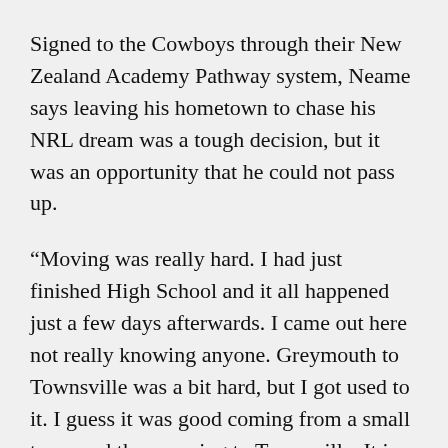Signed to the Cowboys through their New Zealand Academy Pathway system, Neame says leaving his hometown to chase his NRL dream was a tough decision, but it was an opportunity that he could not pass up.
“Moving was really hard. I had just finished High School and it all happened just a few days afterwards. I came out here not really knowing anyone. Greymouth to Townsville was a bit hard, but I got used to it. I guess it was good coming from a small town and then moving to Townsville. It is not as big as Brisbane or